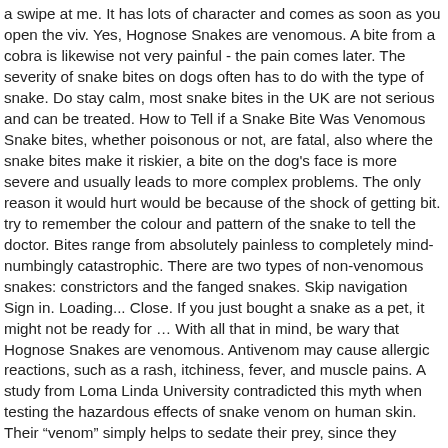a swipe at me. It has lots of character and comes as soon as you open the viv. Yes, Hognose Snakes are venomous. A bite from a cobra is likewise not very painful - the pain comes later. The severity of snake bites on dogs often has to do with the type of snake. Do stay calm, most snake bites in the UK are not serious and can be treated. How to Tell if a Snake Bite Was Venomous Snake bites, whether poisonous or not, are fatal, also where the snake bites make it riskier, a bite on the dog's face is more severe and usually leads to more complex problems. The only reason it would hurt would be because of the shock of getting bit. try to remember the colour and pattern of the snake to tell the doctor. Bites range from absolutely painless to completely mind-numbingly catastrophic. There are two types of non-venomous snakes: constrictors and the fanged snakes. Skip navigation Sign in. Loading... Close. If you just bought a snake as a pet, it might not be ready for … With all that in mind, be wary that Hognose Snakes are venomous. Antivenom may cause allergic reactions, such as a rash, itchiness, fever, and muscle pains. A study from Loma Linda University contradicted this myth when testing the hazardous effects of snake venom on human skin. Their “venom” simply helps to sedate their prey, since they usually eat their meals live and on the spot. Your wound gets larger or becomes more red and has pus. Snakes can have grumpy days and if you are afraid of getting bit, it may lead to neglect if you do get tagged. When they find, say a small mouse or big bug, they simply eat it and digest it on the